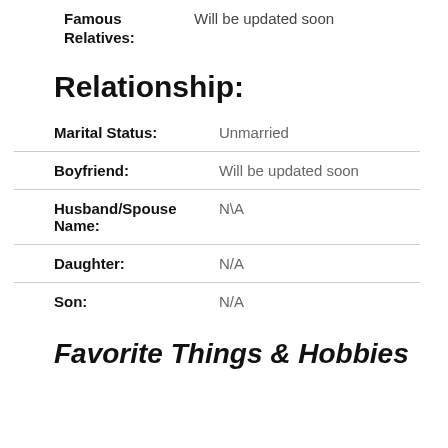Famous Relatives: Will be updated soon
Relationship:
|  |  |
| --- | --- |
| Marital Status: | Unmarried |
| Boyfriend: | Will be updated soon |
| Husband/Spouse Name: | N\A |
| Daughter: | N/A |
| Son: | N/A |
Favorite Things & Hobbies